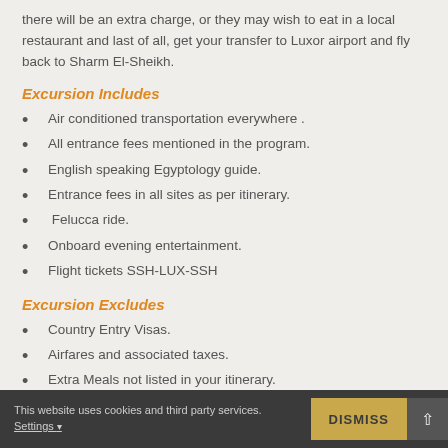there will be an extra charge, or they may wish to eat in a local restaurant and last of all, get your transfer to Luxor airport and fly back to Sharm El-Sheikh.
Excursion Includes
Air conditioned transportation everywhere .
All entrance fees mentioned in the program.
English speaking Egyptology guide.
Entrance fees in all sites as per itinerary.
Felucca ride.
Onboard evening entertainment.
Flight tickets SSH-LUX-SSH
Excursion Excludes
Country Entry Visas.
Airfares and associated taxes.
Extra Meals not listed in your itinerary.
Alcoholic and soft drinks.
This website uses cookies and third party services. Settings ▾
DISMISS